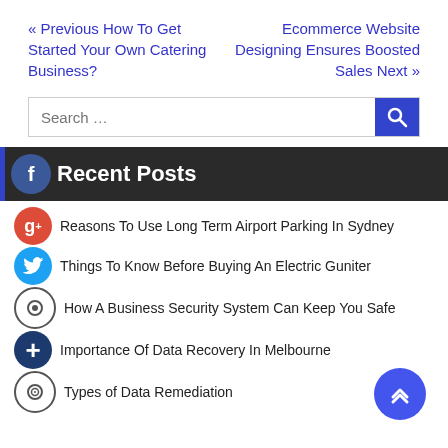« Previous How To Get Started Your Own Catering Business?
Ecommerce Website Designing Ensures Boosted Sales Next »
Search …
Recent Posts
Reasons To Use Long Term Airport Parking In Sydney
Things To Know Before Buying An Electric Guniter
How A Business Security System Can Keep You Safe
Importance Of Data Recovery In Melbourne
Types of Data Remediation